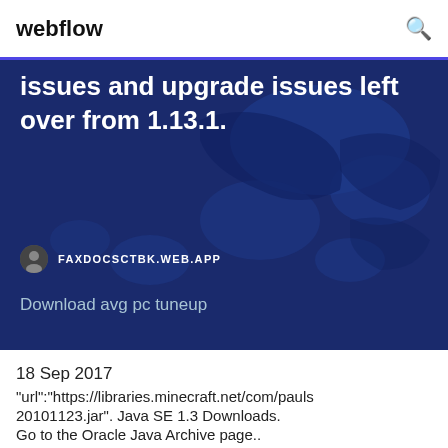webflow
issues and upgrade issues left over from 1.13.1.
FAXDOCSCTBK.WEB.APP
Download avg pc tuneup
18 Sep 2017
"url":"https://libraries.minecraft.net/com/pauls 20101123.jar". Java SE 1.3 Downloads.
Go to the Oracle Java Archive page..